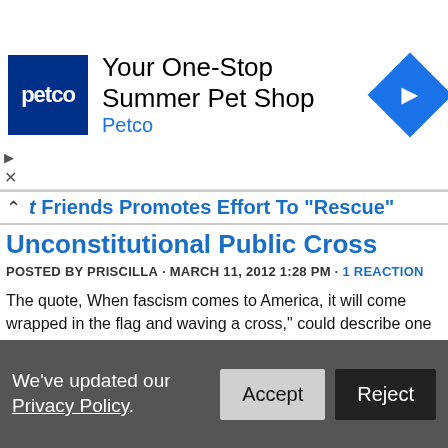[Figure (other): Petco advertisement banner with logo and navigation arrow icon. Text: 'Your One-Stop Summer Pet Shop' and 'Petco' in blue.]
Friends Promotes Effort To "Rescue" Unconstitutional Public Cross
POSTED BY PRISCILLA · MARCH 11, 2012 1:28 PM · 1 REACTION
The quote, When fascism comes to America, it will come wrapped in the flag and waving a cross," could describe one of the most popular themes Fox & Friends, a morning propaganda show that never wastes an opportunity to denigrate those evil Jesus haters who oppose this Christian symbol being placed on government land other than a cemetery. Fox & Friends has done many segments regarding cross disputes and in each and every one, only one side, the Christian side is represented. As Roger Ailes is very concerned about evil secularists who are "threatening to cut America off from its Judeo-Christian roots," it isn't surprising that this me
We've updated our Privacy Policy.
Accept
Reject